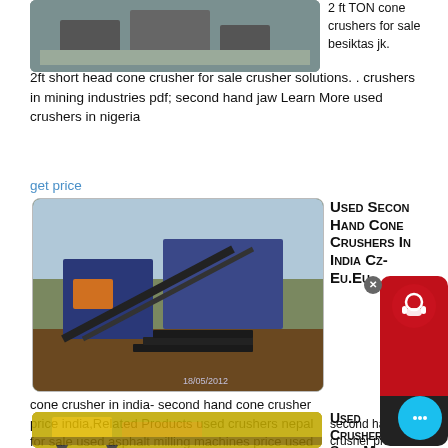[Figure (photo): Industrial machinery/crusher equipment photo at top left]
2 ft TON cone crushers for sale besiktas jk. 2ft short head cone crusher for sale crusher solutions. . crushers in mining industries pdf; second hand jaw Learn More used crushers in nigeria
get price
[Figure (photo): Mining conveyor belt and crusher equipment outdoor photo, dated 18/05/2012]
Used Second Hand Cone Crushers In India Cz-Eu.Eu
second hand cone crusher price used second hand cone crusher in india- second hand cone crusher price india,Related Products used crushers nepal for sale used asphalt milling machines price used iron ore jaw crusher for hire nigeria to bye used tracked crusher fintec 1107. Pre owned, Second Hand, Used Construction Equipment .Used .
[Figure (photo): Yellow tracked crusher/construction machine photo at bottom]
Used Crushers For Sale Mascus